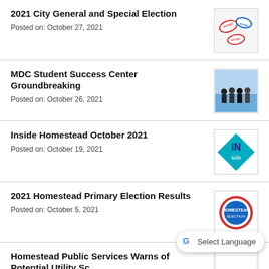2021 City General and Special Election
Posted on: October 27, 2021
MDC Student Success Center Groundbreaking
Posted on: October 26, 2021
Inside Homestead October 2021
Posted on: October 19, 2021
2021 Homestead Primary Election Results
Posted on: October 5, 2021
Homestead Public Services Warns of Potential Utility Sc...
Posted on: September 30, 2021